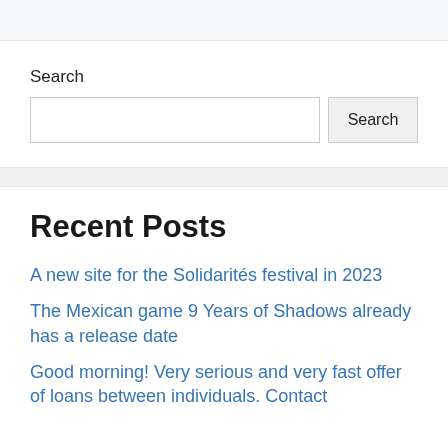Search
Search (input field and button)
Recent Posts
A new site for the Solidarités festival in 2023
The Mexican game 9 Years of Shadows already has a release date
Good morning! Very serious and very fast offer of loans between individuals. Contact